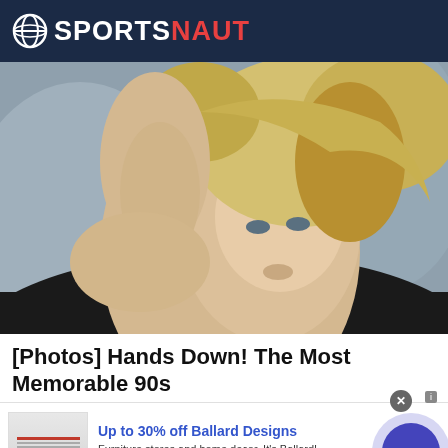SPORTSNAUT
[Figure (photo): Blonde woman in glamour pose reclining on gray couch/pillows, looking at camera]
[Photos] Hands Down! The Most Memorable 90s
[Figure (infographic): Advertisement banner: Up to 30% off Ballard Designs. Furniture stores and home decor. It's Ballard! ballarddesigns.com. Shows product image with red sale banner on left, text in center, and blue circular arrow button on right.]